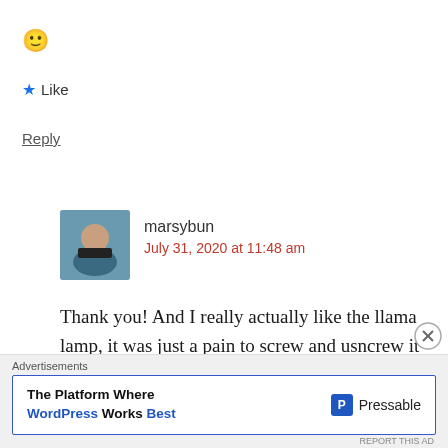🙂
★ Like
Reply
marsybun
July 31, 2020 at 11:48 am
Thank you! And I really actually like the llama lamp, it was just a pain to screw and usncrew it to start it up at the beginning,
Advertisements
The Platform Where WordPress Works Best Pressable